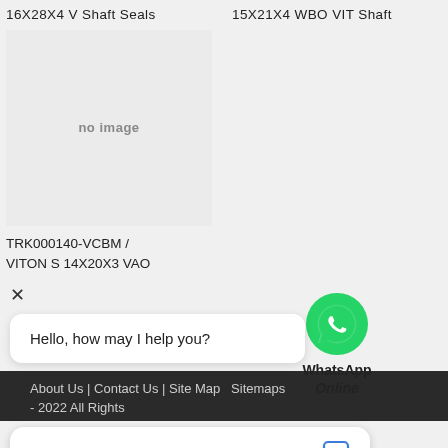16X28X4 V Shaft Seals
15X21X4 WBO VIT Shaft
[Figure (other): Product image placeholder showing 'no image' text on grey background]
TRK000140-VCBM / VITON S 14X20X3 VAO
[Figure (other): WhatsApp logo green circle with phone icon, labeled 'WhatsApp Online']
× Hello, how may I help you?
About Us | Contact Us | Site Map  Sitemaps
- 2022 All Rights
Chat now